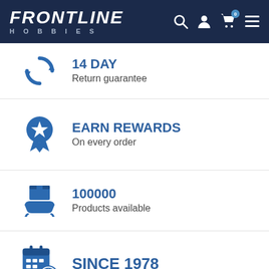FRONTLINE HOBBIES
14 DAY
Return guarantee
EARN REWARDS
On every order
100000
Products available
SINCE 1978